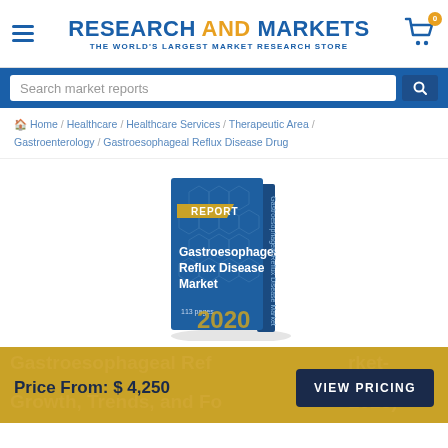RESEARCH AND MARKETS - THE WORLD'S LARGEST MARKET RESEARCH STORE
Search market reports
Home / Healthcare / Healthcare Services / Therapeutic Area / Gastroenterology / Gastroesophageal Reflux Disease Drug
[Figure (illustration): Book cover illustration showing 'Gastroesophageal Reflux Disease Market' report, blue cover with hexagon pattern, labeled 113 pages, 2020, with a gold 'REPORT' banner]
Gastroesophageal Reflux Disease Market- Growth, Trends, and Forecasts (2020-2025)
Price From: $ 4,250   VIEW PRICING